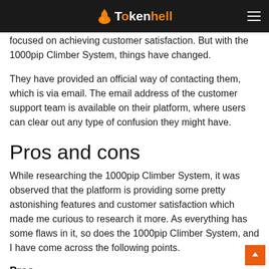Tokenhell
focused on achieving customer satisfaction. But with the 1000pip Climber System, things have changed. They have provided an official way of contacting them, which is via email. The email address of the customer support team is available on their platform, where users can clear out any type of confusion they might have.
Pros and cons
While researching the 1000pip Climber System, it was observed that the platform is providing some pretty astonishing features and customer satisfaction which made me curious to research it more. As everything has some flaws in it, so does the 1000pip Climber System, and I have come across the following points.
Pros